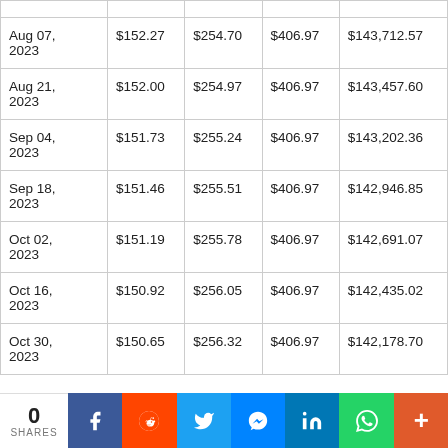| Aug 07, 2023 | $152.27 | $254.70 | $406.97 | $143,712.57 |
| Aug 21, 2023 | $152.00 | $254.97 | $406.97 | $143,457.60 |
| Sep 04, 2023 | $151.73 | $255.24 | $406.97 | $143,202.36 |
| Sep 18, 2023 | $151.46 | $255.51 | $406.97 | $142,946.85 |
| Oct 02, 2023 | $151.19 | $255.78 | $406.97 | $142,691.07 |
| Oct 16, 2023 | $150.92 | $256.05 | $406.97 | $142,435.02 |
| Oct 30, 2023 | $150.65 | $256.32 | $406.97 | $142,178.70 |
0 SHARES | Facebook | Reddit | Twitter | Messenger | LinkedIn | WhatsApp | More